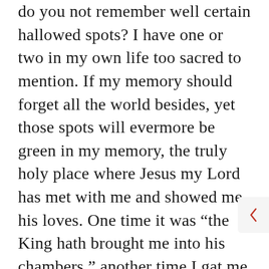do you not remember well certain hallowed spots? I have one or two in my own life too sacred to mention. If my memory should forget all the world besides, yet those spots will evermore be green in my memory, the truly holy place where Jesus my Lord has met with me and showed me his loves. One time it was “the King hath brought me into his chambers,” another time I gat me to “the mountain of myrrh and to the hill of frankincense.” Once he said, “Come, my beloved, let us go forth into field; and let us lodge in the villages,” and anon he changed the scene